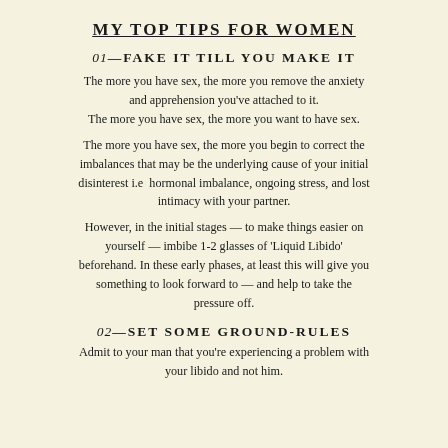MY TOP TIPS FOR WOMEN
01—FAKE IT TILL YOU MAKE IT
The more you have sex, the more you remove the anxiety and apprehension you've attached to it. The more you have sex, the more you want to have sex.
The more you have sex, the more you begin to correct the imbalances that may be the underlying cause of your initial disinterest i.e  hormonal imbalance, ongoing stress, and lost intimacy with your partner.
However, in the initial stages — to make things easier on yourself — imbibe 1-2 glasses of 'Liquid Libido' beforehand. In these early phases, at least this will give you something to look forward to — and help to take the pressure off.
02—SET SOME GROUND-RULES
Admit to your man that you're experiencing a problem with your libido and not him.